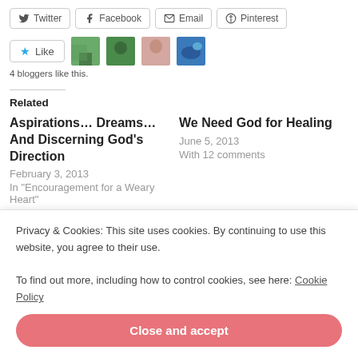[Figure (screenshot): Social share buttons: Twitter, Facebook, Email, Pinterest]
[Figure (screenshot): Like button with star icon and 4 blogger avatar thumbnails]
4 bloggers like this.
Related
Aspirations... Dreams... And Discerning God's Direction
February 3, 2013
In "Encouragement for a Weary Heart"
We Need God for Healing
June 5, 2013
With 12 comments
Privacy & Cookies: This site uses cookies. By continuing to use this website, you agree to their use.
To find out more, including how to control cookies, see here: Cookie Policy
Close and accept